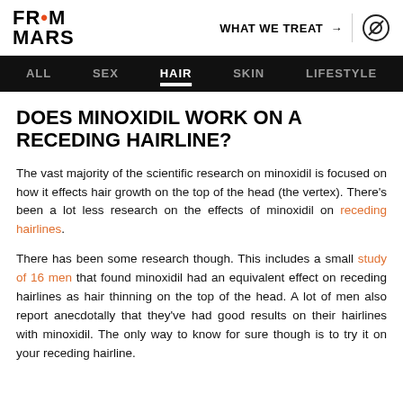FROM MARS | WHAT WE TREAT →
ALL | SEX | HAIR | SKIN | LIFESTYLE
DOES MINOXIDIL WORK ON A RECEDING HAIRLINE?
The vast majority of the scientific research on minoxidil is focused on how it effects hair growth on the top of the head (the vertex). There's been a lot less research on the effects of minoxidil on receding hairlines.
There has been some research though. This includes a small study of 16 men that found minoxidil had an equivalent effect on receding hairlines as hair thinning on the top of the head. A lot of men also report anecdotally that they've had good results on their hairlines with minoxidil. The only way to know for sure though is to try it on your receding hairline.